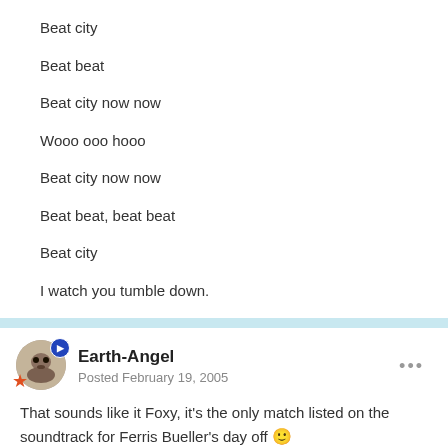Beat city
Beat beat
Beat city now now
Wooo ooo hooo
Beat city now now
Beat beat, beat beat
Beat city
I watch you tumble down.
Earth-Angel
Posted February 19, 2005
That sounds like it Foxy, it's the only match listed on the soundtrack for Ferris Bueller's day off 🙂
Great movie too! 🙁